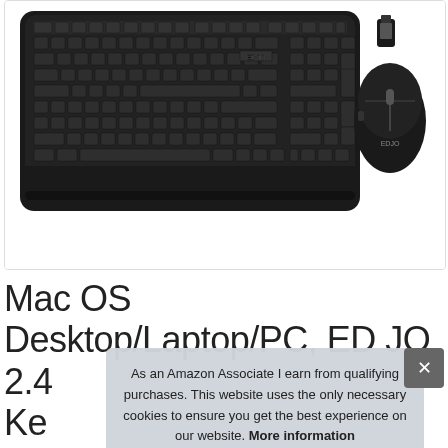[Figure (photo): Product photo of a black wireless keyboard and mouse combo (EDJO brand) with a USB dongle, shown against a white background inside a rounded-corner box.]
Mac OS Desktop/Laptop/PC, ED JO 2.4... Ke... DR...
As an Amazon Associate I earn from qualifying purchases. This website uses the only necessary cookies to ensure you get the best experience on our website. More information